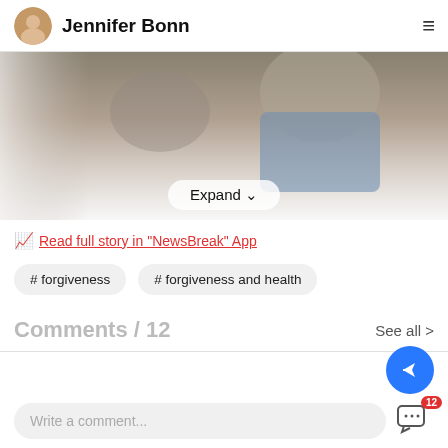Jennifer Bonn
[Figure (photo): A blurry/faded photo of two people, partially visible, with a gradient overlay and an 'Expand' button at the bottom.]
Read full story in "NewsBreak" App
# forgiveness
# forgiveness and health
Comments / 12
See all >
Write a comment...